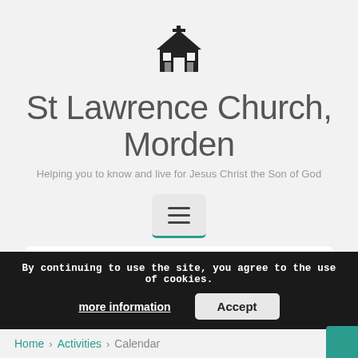[Figure (logo): Church logo icon — black silhouette of a church building with cross]
St Lawrence Church, Morden
Helping you to know and live for Jesus Christ the Son of God
[Figure (other): Hamburger menu button with three horizontal bars, teal bottom border]
Type your search
By continuing to use the site, you agree to the use of cookies.
more information
Accept
Home > Activities > Calendar